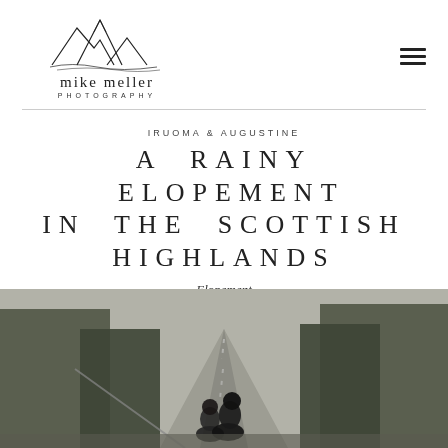[Figure (logo): Mike Meller Photography logo with mountain sketch illustration and text]
IRUOMA & AUGUSTINE
A RAINY ELOPEMENT IN THE SCOTTISH HIGHLANDS
Elopement
[Figure (photo): A couple walking on a rainy road in the Scottish Highlands, surrounded by trees with a moody atmospheric sky]